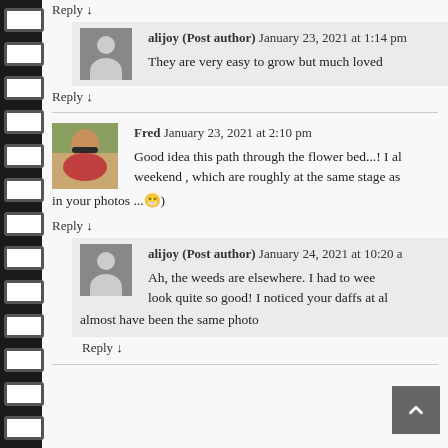Reply ↓
alijoy (Post author) January 23, 2021 at 1:14 pm — They are very easy to grow but much loved
Reply ↓
Fred January 23, 2021 at 2:10 pm — Good idea this path through the flower bed...! I also saw mine this weekend , which are roughly at the same stage as in your photos ... 😁)
Reply ↓
alijoy (Post author) January 24, 2021 at 10:20 — Ah, the weeds are elsewhere. I had to weed look quite so good! I noticed your daffs at almost have been the same photo
Reply ↓